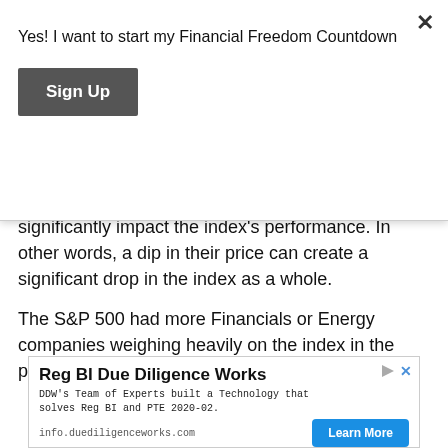Yes! I want to start my Financial Freedom Countdown
Sign Up
significantly impact the index’s performance. In other words, a dip in their price can create a significant drop in the index as a whole.
The S&P 500 had more Financials or Energy companies weighing heavily on the index in the past.
[Figure (screenshot): Advertisement banner for Reg BI Due Diligence Works by DDW. Headline: Reg BI Due Diligence Works. Body: DDW’s Team of Experts built a Technology that solves Reg BI and PTE 2020-02. URL: info.duediligenceworks.com. Button: Learn More.]